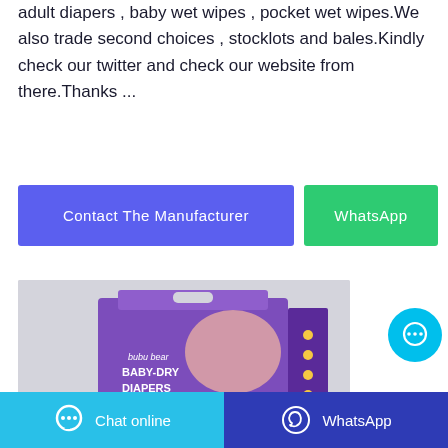adult diapers , baby wet wipes , pocket wet wipes.We also trade second choices , stocklots and bales.Kindly check our twitter and check our website from there.Thanks ...
[Figure (other): Two call-to-action buttons: a blue 'Contact The Manufacturer' button and a green 'WhatsApp' button]
[Figure (photo): Product photo of a purple 'bubu bear BABY-DRY DIAPERS' package box on a grey background]
[Figure (other): Floating cyan circular chat bubble button with ellipsis icon]
[Figure (other): Bottom bar with two buttons: cyan 'Chat online' on the left and dark blue 'WhatsApp' on the right]